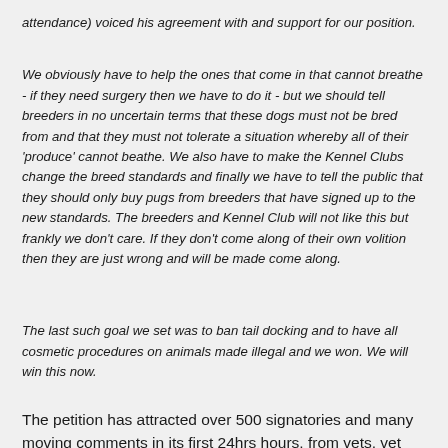attendance) voiced his agreement with and support for our position.
We obviously have to help the ones that come in that cannot breathe - if they need surgery then we have to do it - but we should tell breeders in no uncertain terms that these dogs must not be bred from and that they must not tolerate a situation whereby all of their 'produce' cannot beathe. We also have to make the Kennel Clubs change the breed standards and finally we have to tell the public that they should only buy pugs from breeders that have signed up to the new standards. The breeders and Kennel Club will not like this but frankly we don't care. If they don't come along of their own volition then they are just wrong and will be made come along.
The last such goal we set was to ban tail docking and to have all cosmetic procedures on animals made illegal and we won. We will win this now.
The petition has attracted over 500 signatories and many moving comments in its first 24hrs hours, from vets, vet